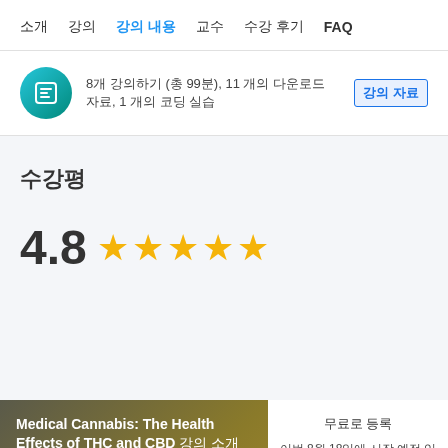소개  강의  강의 내용  교수  수강 후기  FAQ
8개 강의하기 (총 99분), 11 개의 다운로드 자료, 1 개의 코딩 실습
수강평
4.8 ★★★★★
Medical Cannabis: The Health Effects of THC and CBD 강의 소개 코세라에서 새로운 학습을 시작 하세요
무료로 등록 이번 8월 18일에 시작 예정 입니다